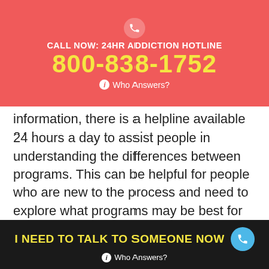CALL NOW: 24HR ADDICTION HOTLINE 800-838-1752 ℹ Who Answers?
information, there is a helpline available 24 hours a day to assist people in understanding the differences between programs. This can be helpful for people who are new to the process and need to explore what programs may be best for the specific situation at hand. Some programs allow people to go through a detox program which can be medically monitored for safety. Many programs utilize group settings to allow people to speak with one another and connect. There are also meetings hosted by local people who have organized spaces and places where people can gather
I NEED TO TALK TO SOMEONE NOW ℹ Who Answers?